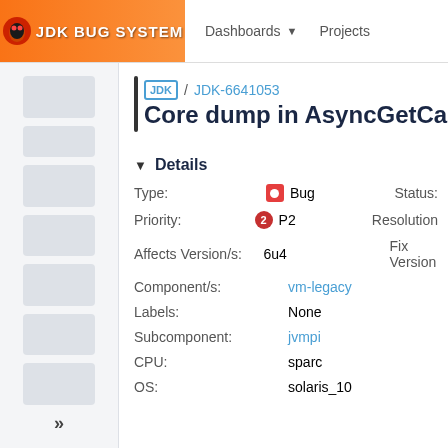JDK Bug System | Dashboards | Projects
JDK / JDK-6641053
Core dump in AsyncGetCal...
Details
| Field | Value | Right Label |
| --- | --- | --- |
| Type: | Bug | Status: |
| Priority: | P2 | Resolution |
| Affects Version/s: | 6u4 | Fix Version |
| Component/s: | vm-legacy |  |
| Labels: | None |  |
| Subcomponent: | jvmpi |  |
| CPU: | sparc |  |
| OS: | solaris_10 |  |